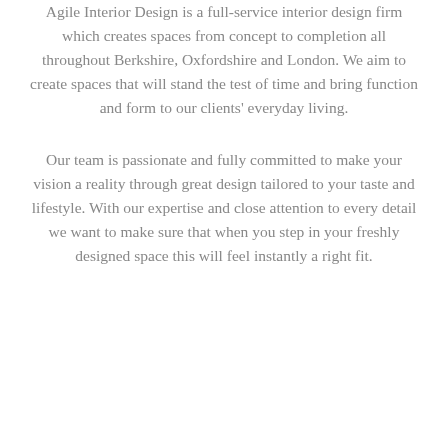Agile Interior Design is a full-service interior design firm which creates spaces from concept to completion all throughout Berkshire, Oxfordshire and London. We aim to create spaces that will stand the test of time and bring function and form to our clients' everyday living.
Our team is passionate and fully committed to make your vision a reality through great design tailored to your taste and lifestyle. With our expertise and close attention to every detail we want to make sure that when you step in your freshly designed space this will feel instantly a right fit.